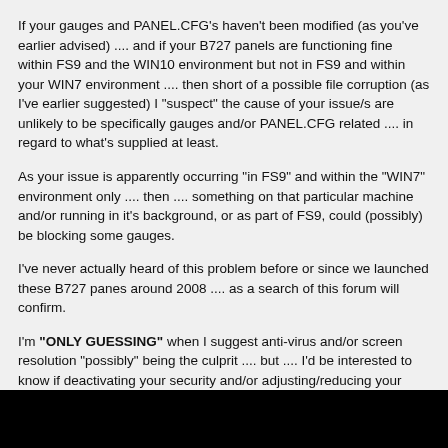If your gauges and PANEL.CFG's haven't been modified (as you've earlier advised) .... and if your B727 panels are functioning fine within FS9 and the WIN10 environment but not in FS9 and within your WIN7 environment .... then short of a possible file corruption (as I've earlier suggested) I "suspect" the cause of your issue/s are unlikely to be specifically gauges and/or PANEL.CFG related .... in regard to what's supplied at least.
As your issue is apparently occurring "in FS9" and within the "WIN7" environment only .... then .... something on that particular machine and/or running in it's background, or as part of FS9, could (possibly) be blocking some gauges.
I've never actually heard of this problem before or since we launched these B727 panes around 2008 .... as a search of this forum will confirm.
I'm "ONLY GUESSING" when I suggest anti-virus and/or screen resolution "possibly" being the culprit .... but .... I'd be interested to know if deactivating your security and/or adjusting/reducing your screen resolution solves the problem.
I know, for a fact, our DC-9 panels can't be run over a certain screen resolution before issues start to arise, but, I can't recall what that resolution